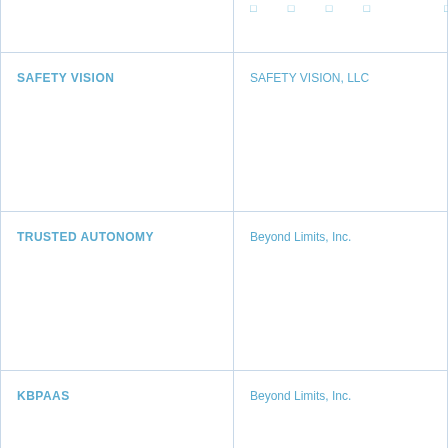| Trademark | Owner |
| --- | --- |
| (partial row - top) | (partial values) |
| SAFETY VISION | SAFETY VISION, LLC |
| TRUSTED AUTONOMY | Beyond Limits, Inc. |
| KBPAAS | Beyond Limits, Inc. |
| LAMBENT | Armored Things Inc. |